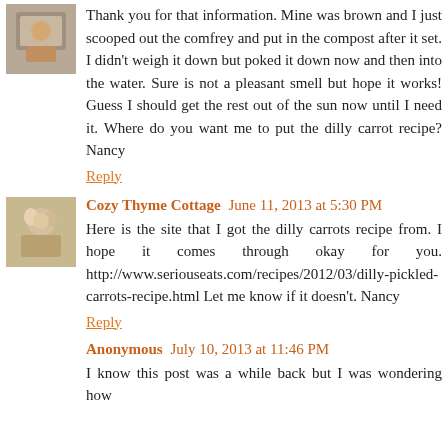Thank you for that information. Mine was brown and I just scooped out the comfrey and put in the compost after it set. I didn't weigh it down but poked it down now and then into the water. Sure is not a pleasant smell but hope it works! Guess I should get the rest out of the sun now until I need it. Where do you want me to put the dilly carrot recipe? Nancy
Reply
Cozy Thyme Cottage June 11, 2013 at 5:30 PM
Here is the site that I got the dilly carrots recipe from. I hope it comes through okay for you. http://www.seriouseats.com/recipes/2012/03/dilly-pickled-carrots-recipe.html Let me know if it doesn't. Nancy
Reply
Anonymous July 10, 2013 at 11:46 PM
I know this post was a while back but I was wondering how